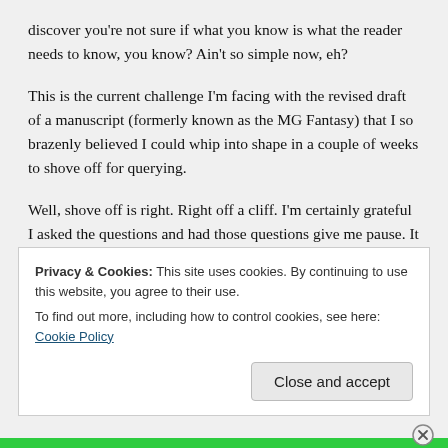discover you're not sure if what you know is what the reader needs to know, you know? Ain't so simple now, eh?
This is the current challenge I'm facing with the revised draft of a manuscript (formerly known as the MG Fantasy) that I so brazenly believed I could whip into shape in a couple of weeks to shove off for querying.
Well, shove off is right. Right off a cliff. I'm certainly grateful I asked the questions and had those questions give me pause. It wouldn't do anyone any good if I were to toss this manuscript into the sea, as is, and hope a literary agent
Privacy & Cookies: This site uses cookies. By continuing to use this website, you agree to their use.
To find out more, including how to control cookies, see here: Cookie Policy
Close and accept